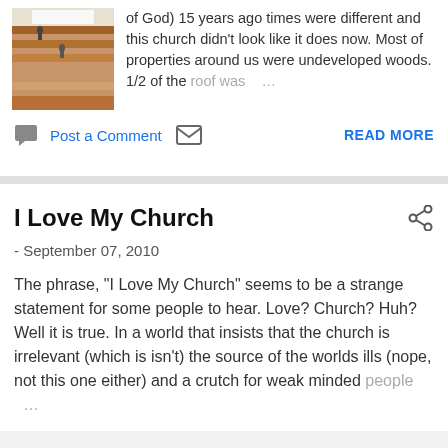[Figure (photo): Photo of church interior showing wooden pews and flooring]
of God) 15 years ago times were different and this church didn't look like it does now. Most of properties around us were undeveloped woods. 1/2 of the roof was ...
Post a Comment
READ MORE
I Love My Church
- September 07, 2010
The phrase, "I Love My Church" seems to be a strange statement for some people to hear. Love? Church? Huh? Well it is true. In a world that insists that the church is irrelevant (which is isn't) the source of the worlds ills (nope, not this one either) and a crutch for weak minded people ...